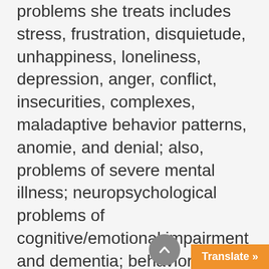problems she treats includes stress, frustration, disquietude, unhappiness, loneliness, depression, anger, conflict, insecurities, complexes, maladaptive behavior patterns, anomie, and denial; also, problems of severe mental illness; neuropsychological problems of cognitive/emotional impairment and dementia; behavior medicine problems related to chronic disease or other medical health conditions. Dr. Mroczek's style is non-judgmental and accommodative to the pace of self-discovery and help. Dr. Mroczek uses both implicit and explicit behavioral tech